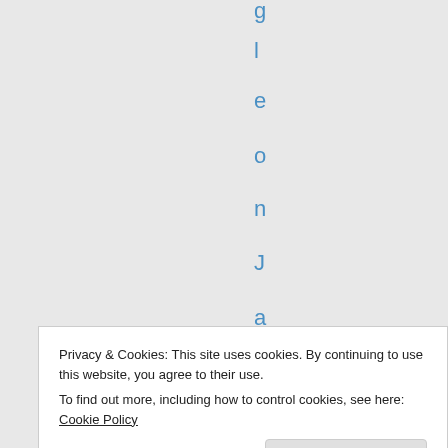g l e o n J a n u a r y 2
Privacy & Cookies: This site uses cookies. By continuing to use this website, you agree to their use.
To find out more, including how to control cookies, see here: Cookie Policy
Close and accept